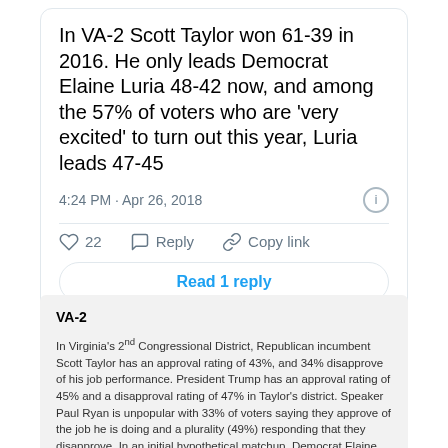In VA-2 Scott Taylor won 61-39 in 2016. He only leads Democrat Elaine Luria 48-42 now, and among the 57% of voters who are 'very excited' to turn out this year, Luria leads 47-45
4:24 PM · Apr 26, 2018
22   Reply   Copy link
Read 1 reply
VA-2
In Virginia's 2nd Congressional District, Republican incumbent Scott Taylor has an approval rating of 43%, and 34% disapprove of his job performance. President Trump has an approval rating of 45% and a disapproval rating of 47% in Taylor's district. Speaker Paul Ryan is unpopular with 33% of voters saying they approve of the job he is doing and a plurality (49%) responding that they disapprove. In an initial hypothetical matchup, Democrat Elaine Luria receives 42% of the vote and Taylor receives 48%. Although Luria is down, 47% who are 'very excited' to vote plan to cast their ballot for her, while 45% support Taylor. A large majority of voters (82%) indicate they have major (66%) or minor (16%) concerns after Taylor voted for a health care plan that allows insurance companies to impose an unfair age tax on people